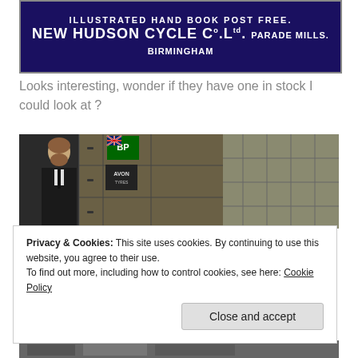[Figure (photo): Dark blue enamel advertising sign reading 'ILLUSTRATED HAND BOOK POST FREE. NEW HUDSON CYCLE Co. Ltd. PARADE MILLS BIRMINGHAM' in white capital letters]
Looks interesting, wonder if they have one in stock I could look at ?
[Figure (photo): Indoor scene showing a bearded man in dark clothing on the left, vintage metal lockers/cabinets in the centre, BP and AVON signs visible, and wooden shelf unit on the right]
Privacy & Cookies: This site uses cookies. By continuing to use this website, you agree to their use.
To find out more, including how to control cookies, see here: Cookie Policy